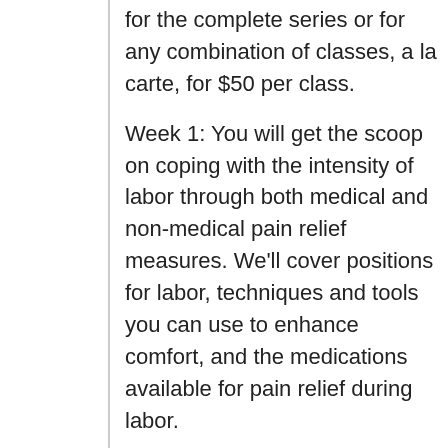for the complete series or for any combination of classes, a la carte, for $50 per class.
Week 1: You will get the scoop on coping with the intensity of labor through both medical and non-medical pain relief measures. We'll cover positions for labor, techniques and tools you can use to enhance comfort, and the medications available for pain relief during labor.
Week 2: What really happens in those first few months with your new baby? We'll cover:
what to expect in the early days
basic child development topics –